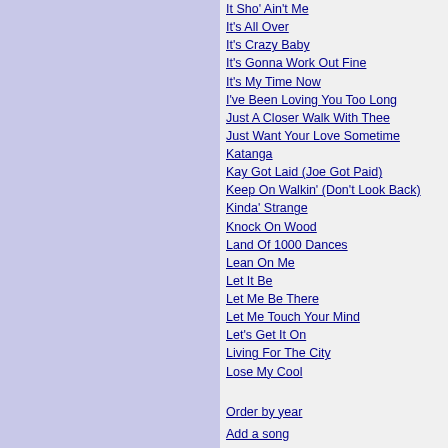It Sho' Ain't Me
It's All Over
It's Crazy Baby
It's Gonna Work Out Fine
It's My Time Now
I've Been Loving You Too Long
Just A Closer Walk With Thee
Just Want Your Love Sometime
Katanga
Kay Got Laid (Joe Got Paid)
Keep On Walkin' (Don't Look Back)
Kinda' Strange
Knock On Wood
Land Of 1000 Dances
Lean On Me
Let It Be
Let Me Be There
Let Me Touch Your Mind
Let's Get It On
Living For The City
Lose My Cool
Order by year
Add a song
ALBUMS BY IKE & TINA TURNER
27 St. Louis Sizzlers
28 Soulful Selections
A Fool In Love
Absolutely The Best Live
Airwaves
Alle 40 goed
Come Together (Ike & Tina Turner & The Ikettes)